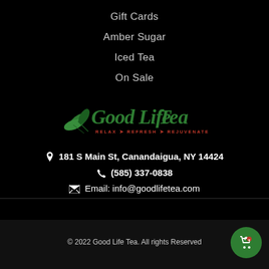Gift Cards
Amber Sugar
Iced Tea
On Sale
[Figure (logo): Good Life Tea logo with green leaf illustration and script text. Tagline: RELAX > REFRESH > REJUVENATE]
181 S Main St, Canandaigua, NY 14424
(585) 337-0838
Email: info@goodlifetea.com
© 2022 Good Life Tea. All rights Reserved